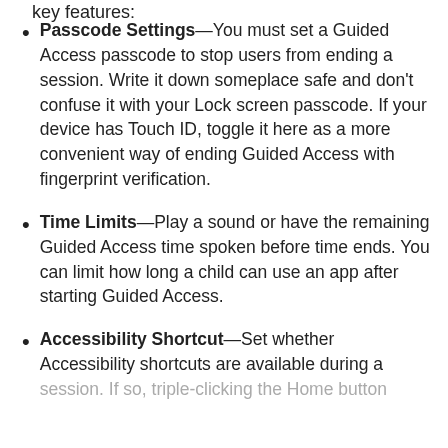key features:
Passcode Settings—You must set a Guided Access passcode to stop users from ending a session. Write it down someplace safe and don't confuse it with your Lock screen passcode. If your device has Touch ID, toggle it here as a more convenient way of ending Guided Access with fingerprint verification.
Time Limits—Play a sound or have the remaining Guided Access time spoken before time ends. You can limit how long a child can use an app after starting Guided Access.
Accessibility Shortcut—Set whether Accessibility shortcuts are available during a session. If so, triple-clicking the Home button